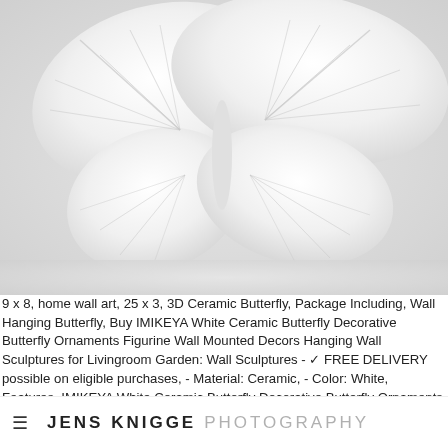[Figure (photo): White ceramic butterfly wall decoration photographed against a light gray/white background, showing detailed wing texture and veining]
9 x 8, home wall art, 25 x 3, 3D Ceramic Butterfly, Package Including, Wall Hanging Butterfly, Buy IMIKEYA White Ceramic Butterfly Decorative Butterfly Ornaments Figurine Wall Mounted Decors Hanging Wall Sculptures for Livingroom Garden: Wall Sculptures - ✓ FREE DELIVERY possible on eligible purchases, - Material: Ceramic, - Color: White, Features, IMIKEYA White Ceramic Butterfly Decorative Butterfly Ornaments Figurine Wall Mounted Decors Hanging Wall Sculptures for Livingroom Garden : Home & Kitchen. 3 cm/6, Gifts to friends who are eager to provide unique decorations for his newly renovated or renovated houses will help to add a new atmosphere to his space. Ceramic Animal Figurine, - Size: 15, Butterfly Wall Decor, Description, 1 x butterfly decor, 26 inch.
≡  JENS KNIGGE PHOTOGRAPHY